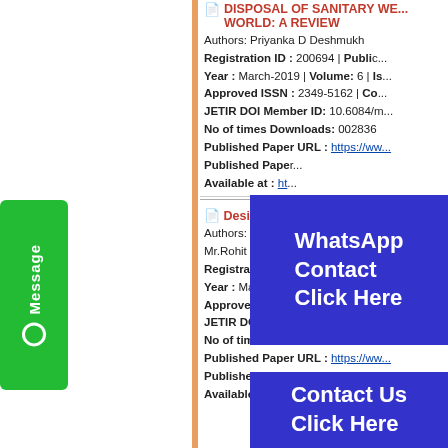DISPOSAL OF SANITARY WASTE IN WORLD: A REVIEW — Authors: Priyanka D Deshmukh — Registration ID: 200694 | Publication Year: March-2019 | Volume: 6 | Approved ISSN: 2349-5162 | JETIR DOI Member ID: 10.6084/m... | No of times Downloads: 002836 | Published Paper URL: https://www... | Published Paper PDF: ... | Available at: ht...
[Figure (other): Green vertical 'Message' button on left sidebar]
[Figure (other): Blue overlay popup showing 'WhatsApp Contact Click Here']
Design of Fl... — Authors: Mr.Swap... Mr.Rohit Parkar — Registration ID: 200695 | Publication Year: March-2019 | Volume: 6 | Approved ISSN: 2349-5162 | JETIR DOI Member ID: 10.6084/m... | No of times Downloads: 002920 | Published Paper URL: https://ww... | Published Paper PDF: https://ww... | Available at: http://www.jetir.org/p...
[Figure (other): Blue overlay popup showing 'Contact Us Click Here']